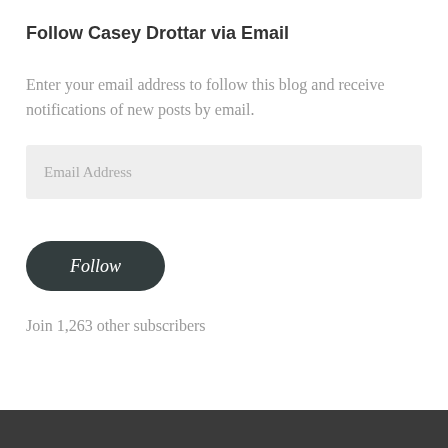Follow Casey Drottar via Email
Enter your email address to follow this blog and receive notifications of new posts by email.
Email Address
Follow
Join 1,263 other subscribers